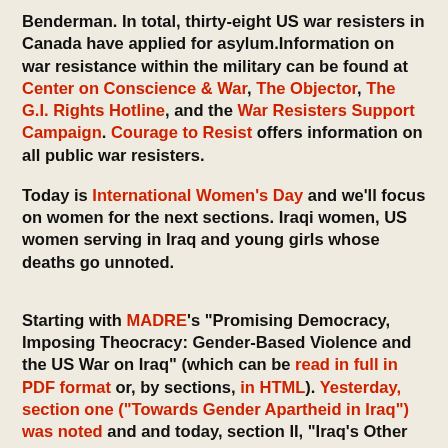Benderman. In total, thirty-eight US war resisters in Canada have applied for asylum.Information on war resistance within the military can be found at Center on Conscience & War, The Objector, The G.I. Rights Hotline, and the War Resisters Support Campaign. Courage to Resist offers information on all public war resisters.
Today is International Women's Day and we'll focus on women for the next sections. Iraqi women, US women serving in Iraq and young girls whose deaths go unnoted.
Starting with MADRE's "Promising Democracy, Imposing Theocracy: Gender-Based Violence and the US War on Iraq" (which can be read in full in PDF format or, by sections, in HTML). Yesterday, section one ("Towards Gender Apartheid in Iraq") was noted and and today, section II, "Iraq's Other War: Impsoing Theocracy Through Gender-Based." This section notes how the violence arrived with the start of the illegal war and, originally, it was hoped that the targeting of women was